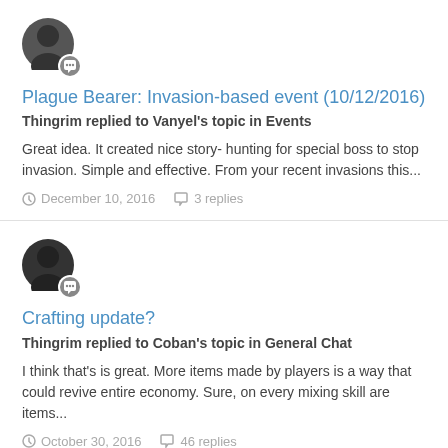[Figure (illustration): User avatar with chat badge overlay - dark silhouette person icon with speech bubble badge]
Plague Bearer: Invasion-based event (10/12/2016)
Thingrim replied to Vanyel's topic in Events
Great idea. It created nice story- hunting for special boss to stop invasion. Simple and effective. From your recent invasions this...
December 10, 2016   3 replies
[Figure (illustration): User avatar with chat badge overlay - dark silhouette person icon with speech bubble badge]
Crafting update?
Thingrim replied to Coban's topic in General Chat
I think that's is great. More items made by players is a way that could revive entire economy. Sure, on every mixing skill are items...
October 30, 2016   46 replies
[Figure (illustration): Partial user avatar at bottom - dark silhouette person icon]